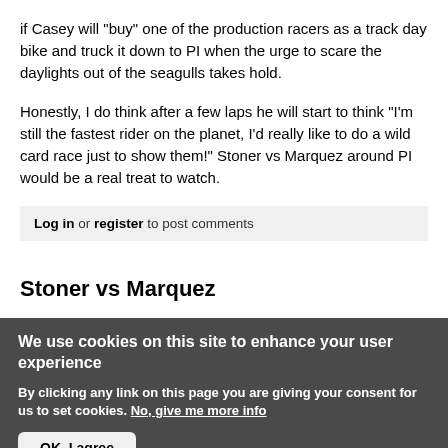if Casey will "buy" one of the production racers as a track day bike and truck it down to PI when the urge to scare the daylights out of the seagulls takes hold.
Honestly, I do think after a few laps he will start to think "I'm still the fastest rider on the planet, I'd really like to do a wild card race just to show them!" Stoner vs Marquez around PI would be a real treat to watch.
Log in or register to post comments
Stoner vs Marquez
We use cookies on this site to enhance your user experience
By clicking any link on this page you are giving your consent for us to set cookies. No, give me more info
OK, I agree